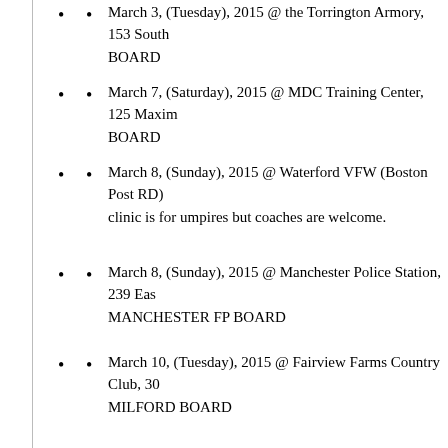March 3, (Tuesday), 2015 @ the Torrington Armory, 153 South
BOARD
March 7, (Saturday), 2015 @ MDC Training Center, 125 Maxim
BOARD
March 8, (Sunday), 2015 @ Waterford VFW (Boston Post RD)
clinic is for umpires but coaches are welcome.
March 8, (Sunday), 2015 @ Manchester Police Station, 239 Eas
MANCHESTER FP BOARD
March 10, (Tuesday), 2015 @ Fairview Farms Country Club, 30
MILFORD BOARD
March 10, (Tuesday), 2015 @ Fairfield Ludlowe High School a
FAIRFIELD COUNTY BOARD
March 15, (Sunday), 2015 @ Jonathan Law High School at 12:0
HAVEN BOARD
March 16, (Monday), 2015 @ Griswold High School @ 7:00p.m
March 17, (Tuesday), 2015 @ Masuk High School at 7:30p.m S
COUNTY BOARD
March 18, (Wednesday), 2015 @ Platt High School, Meriden at